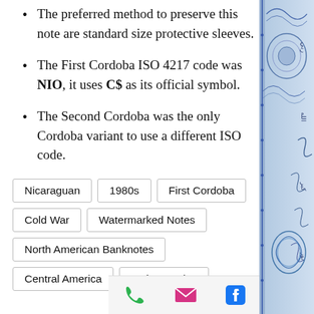The preferred method to preserve this note are standard size protective sleeves.
The First Cordoba ISO 4217 code was NIO, it uses C$ as its official symbol.
The Second Cordoba was the only Cordoba variant to use a different ISO code.
Nicaraguan | 1980s | First Cordoba | Cold War | Watermarked Notes | North American Banknotes | Central America | Latin America
[Figure (illustration): Decorative banknote ornamental design in blue with intricate patterns and Arabic script on the right side margin]
[Figure (infographic): Bottom navigation bar with phone (green), email (pink), and Facebook (blue) icons]